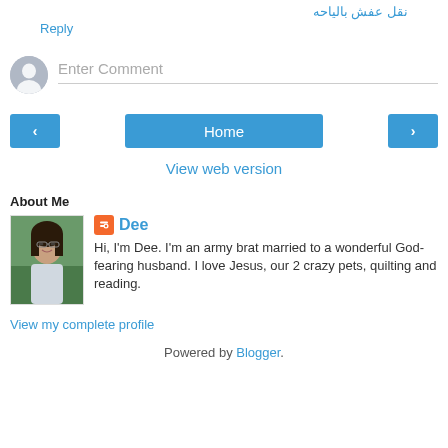نقل عفش بالياحه
Reply
Enter Comment
Home
View web version
About Me
[Figure (photo): Profile photo of Dee, a woman with dark hair and glasses]
Dee
Hi, I'm Dee. I'm an army brat married to a wonderful God-fearing husband. I love Jesus, our 2 crazy pets, quilting and reading.
View my complete profile
Powered by Blogger.